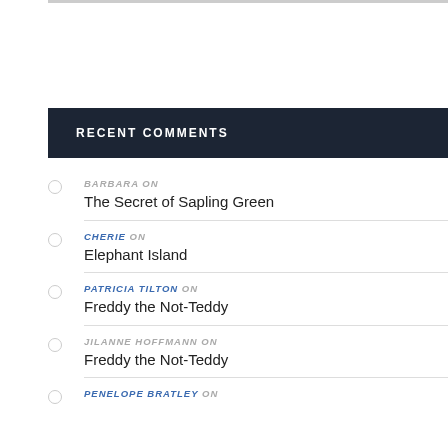RECENT COMMENTS
BARBARA on The Secret of Sapling Green
CHERIE on Elephant Island
PATRICIA TILTON on Freddy the Not-Teddy
JILANNE HOFFMANN on Freddy the Not-Teddy
PENELOPE BRATLEY on